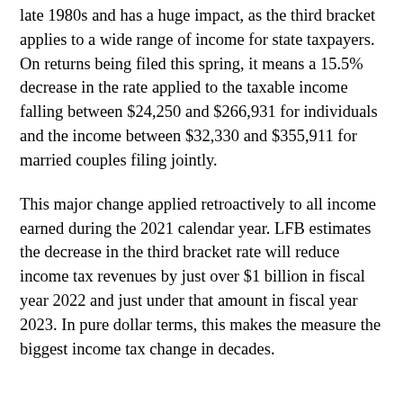late 1980s and has a huge impact, as the third bracket applies to a wide range of income for state taxpayers. On returns being filed this spring, it means a 15.5% decrease in the rate applied to the taxable income falling between $24,250 and $266,931 for individuals and the income between $32,330 and $355,911 for married couples filing jointly.
This major change applied retroactively to all income earned during the 2021 calendar year. LFB estimates the decrease in the third bracket rate will reduce income tax revenues by just over $1 billion in fiscal year 2022 and just under that amount in fiscal year 2023. In pure dollar terms, this makes the measure the biggest income tax change in decades.